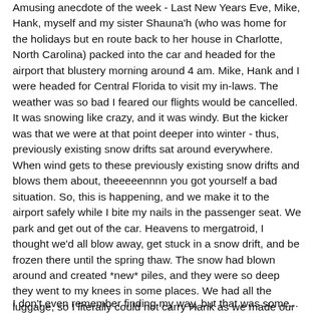Amusing anecdote of the week - Last New Years Eve, Mike, Hank, myself and my sister Shauna'h (who was home for the holidays but en route back to her house in Charlotte, North Carolina) packed into the car and headed for the airport that blustery morning around 4 am. Mike, Hank and I were headed for Central Florida to visit my in-laws. The weather was so bad I feared our flights would be cancelled. It was snowing like crazy, and it was windy. But the kicker was that we were at that point deeper into winter - thus, previously existing snow drifts sat around everywhere. When wind gets to these previously existing snow drifts and blows them about, theeeeennnn you got yourself a bad situation. So, this is happening, and we make it to the airport safely while I bite my nails in the passenger seat. We park and get out of the car. Heavens to mergatroid, I thought we'd all blow away, get stuck in a snow drift, and be frozen there until the spring thaw. The snow had blown around and created *new* piles, and they were so deep they went to my knees in some places. We had all the luggage, so I literally could not carry Hank as we made our way to the shuttle; I held his hand and prayed he wouldn't disappear into a drift.
I don't even remember finding my way, but that was some...